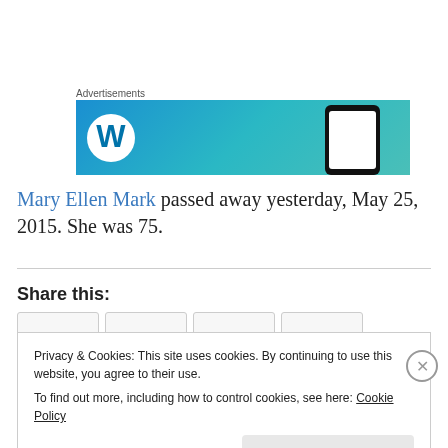[Figure (screenshot): Advertisement banner with WordPress logo and phone graphic on blue-teal gradient background]
Mary Ellen Mark passed away yesterday, May 25, 2015. She was 75.
Share this:
Privacy & Cookies: This site uses cookies. By continuing to use this website, you agree to their use.
To find out more, including how to control cookies, see here: Cookie Policy